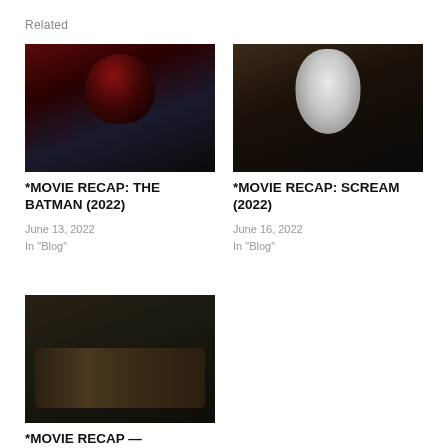Related
[Figure (photo): Batman character in red-lit scene from The Batman 2022]
*MOVIE RECAP: THE BATMAN (2022)
June 13, 2022
In "Blog"
[Figure (photo): Ghost face mask character from Scream 2022]
*MOVIE RECAP: SCREAM (2022)
June 16, 2022
In "Blog"
[Figure (photo): Group of actors from Fantastic Beasts movie]
*MOVIE RECAP — FANTASTIC